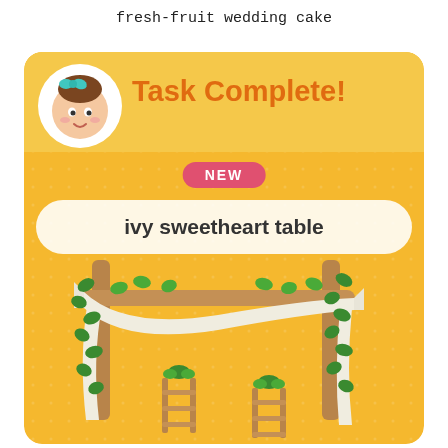fresh-fruit wedding cake
[Figure (illustration): Game screenshot showing a 'Task Complete!' notification card with orange/yellow background. Features a cartoon character (girl with bow) in a white circle, a pink 'NEW' badge, a pill-shaped label reading 'ivy sweetheart table', and an illustration of a wooden arch decorated with white fabric and ivy vines, with two small wooden chairs below.]